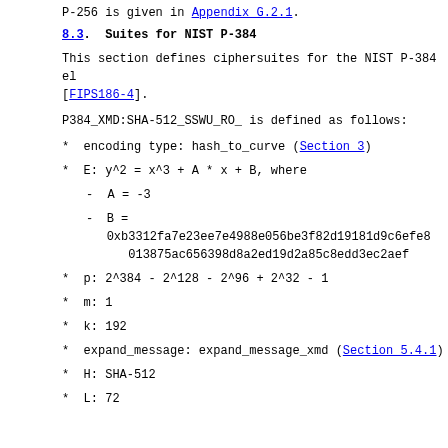P-256 is given in Appendix G.2.1.
8.3.  Suites for NIST P-384
This section defines ciphersuites for the NIST P-384 el [FIPS186-4].
P384_XMD:SHA-512_SSWU_RO_ is defined as follows:
encoding type: hash_to_curve (Section 3)
E: y^2 = x^3 + A * x + B, where
A = -3
B = 0xb3312fa7e23ee7e4988e056be3f82d19181d9c6efe8 013875ac656398d8a2ed19d2a85c8edd3ec2aef
p: 2^384 - 2^128 - 2^96 + 2^32 - 1
m: 1
k: 192
expand_message: expand_message_xmd (Section 5.4.1)
H: SHA-512
L: 72